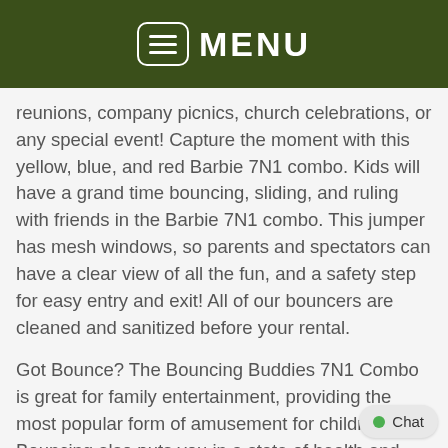MENU
reunions, company picnics, church celebrations, or any special event! Capture the moment with this yellow, blue, and red Barbie 7N1 combo. Kids will have a grand time bouncing, sliding, and ruling with friends in the Barbie 7N1 combo. This jumper has mesh windows, so parents and spectators can have a clear view of all the fun, and a safety step for easy entry and exit! All of our bouncers are cleaned and sanitized before your rental.
Got Bounce? The Bouncing Buddies 7N1 Combo is great for family entertainment, providing the most popular form of amusement for children. Bouncing also puts you in a state of health and fitness, improves your sense of balance, creates an aerobic effect for your heart, strengthens your muscles, and increases the capacity for respiration, resulting in better mental performance!